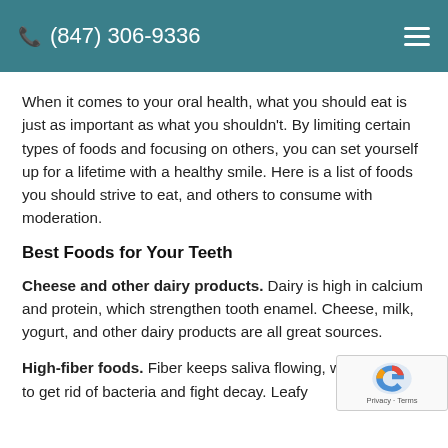(847) 306-9336
When it comes to your oral health, what you should eat is just as important as what you shouldn't. By limiting certain types of foods and focusing on others, you can set yourself up for a lifetime with a healthy smile. Here is a list of foods you should strive to eat, and others to consume with moderation.
Best Foods for Your Teeth
Cheese and other dairy products. Dairy is high in calcium and protein, which strengthen tooth enamel. Cheese, milk, yogurt, and other dairy products are all great sources.
High-fiber foods. Fiber keeps saliva flowing, which helps to get rid of bacteria and fight decay. Leafy